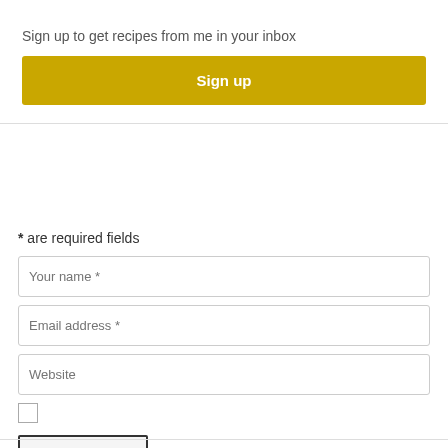Sign up to get recipes from me in your inbox
[Figure (screenshot): Sign up button in golden/yellow color]
* are required fields
Your name *
Email address *
Website
[Figure (other): Checkbox unchecked]
Post Comment